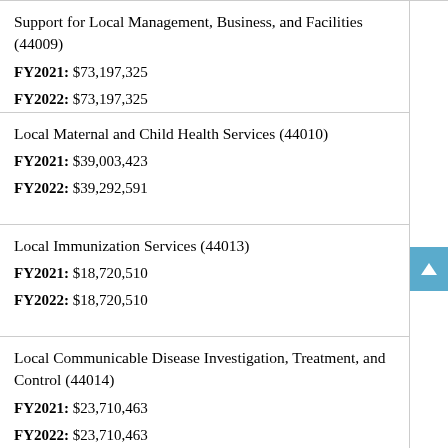| Support for Local Management, Business, and Facilities (44009) | FY2021: $73,197,325 | FY2022: $73,197,325 |
| Local Maternal and Child Health Services (44010) | FY2021: $39,003,423 | FY2022: $39,292,591 |
| Local Immunization Services (44013) | FY2021: $18,720,510 | FY2022: $18,720,510 |
| Local Communicable Disease Investigation, Treatment, and Control (44014) | FY2021: $23,710,463 | FY2022: $23,710,463 |